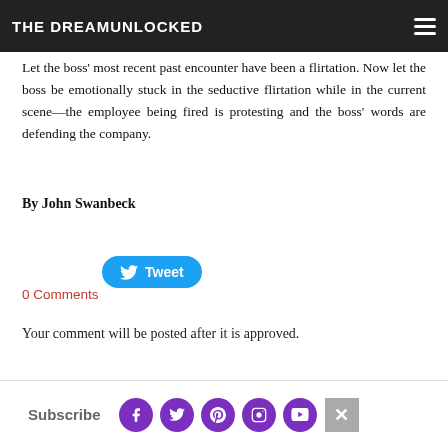THE DREAMUNLOCKED
Let the boss' most recent past encounter have been a flirtation. Now let the boss be emotionally stuck in the seductive flirtation while in the current scene—the employee being fired is protesting and the boss' words are defending the company.
By John Swanbeck
[Figure (other): Tweet button with Twitter bird icon]
0 Comments
Your comment will be posted after it is approved.
Subscribe  [social icons: Facebook, Twitter, Pinterest, Instagram, YouTube]